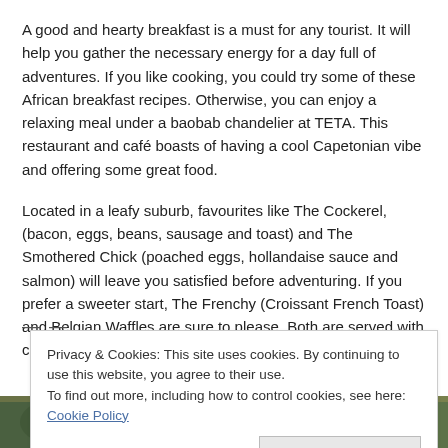A good and hearty breakfast is a must for any tourist. It will help you gather the necessary energy for a day full of adventures. If you like cooking, you could try some of these African breakfast recipes. Otherwise, you can enjoy a relaxing meal under a baobab chandelier at TETA. This restaurant and café boasts of having a cool Capetonian vibe and offering some great food.
Located in a leafy suburb, favourites like The Cockerel, (bacon, eggs, beans, sausage and toast) and The Smothered Chick (poached eggs, hollandaise sauce and salmon) will leave you satisfied before adventuring. If you prefer a sweeter start, The Frenchy (Croissant French Toast) and Belgian Waffles are sure to please. Both are served with cream and berries.
Privacy & Cookies: This site uses cookies. By continuing to use this website, you agree to their use.
To find out more, including how to control cookies, see here: Cookie Policy
Close and accept
[Figure (photo): A partial photo strip visible at the bottom of the page showing green foliage and outdoor scenery]